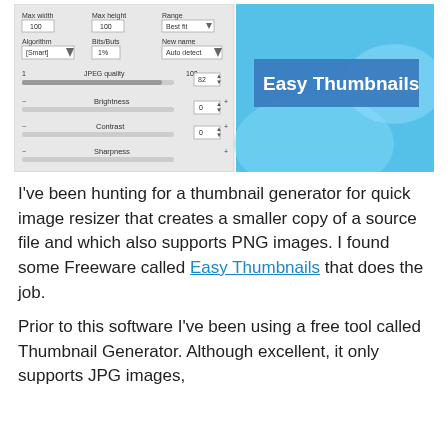[Figure (screenshot): Screenshot of Easy Thumbnails application interface showing settings panel on the left (Max width, Max height, Range, Algorithm, Bits/Buts, New name fields, JPEG quality slider, Brightness, Contrast, Sharpness controls) and the Easy Thumbnails logo/branding on the right with a blue background and white bold text reading 'Easy Thumbnails'.]
I've been hunting for a thumbnail generator for quick image resizer that creates a smaller copy of a source file and which also supports PNG images. I found some Freeware called Easy Thumbnails that does the job.
Prior to this software I've been using a free tool called Thumbnail Generator. Although excellent, it only supports JPG images,